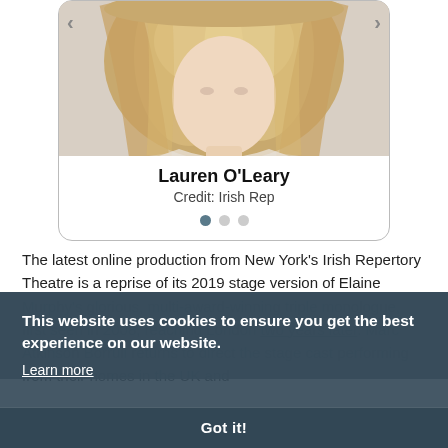[Figure (photo): Headshot photo of Lauren O'Leary, a woman with long blonde wavy hair, inside a card slider UI with left and right navigation arrows]
Lauren O'Leary
Credit: Irish Rep
[Figure (infographic): Three pagination dots; first dot is filled/active (dark teal), second and third are light gray]
The latest online production from New York's Irish Repertory Theatre is a reprise of its 2019 stage version of Elaine Murphy's glorious, multi-award-winning triple monologue, first seen in 2008, reaching London two years later. Marc Atkinson Borrull returns to direct the stage cast performing from their homes in the UK and
This website uses cookies to ensure you get the best experience on our website.
Learn more
Got it!